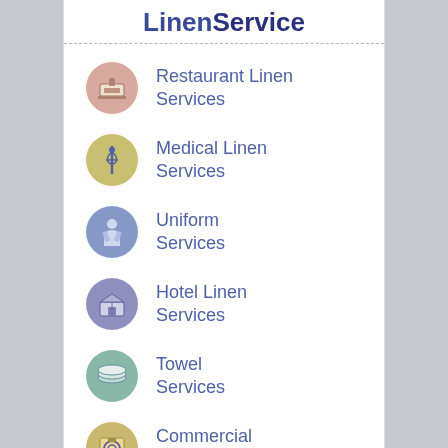LinenService
Restaurant Linen Services
Medical Linen Services
Uniform Services
Hotel Linen Services
Towel Services
Commercial Laundry